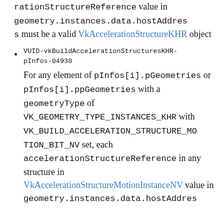rationStructureReference value in geometry.instances.data.hostAddress must be a valid VkAccelerationStructureKHR object
VUID-vkBuildAccelerationStructuresKHR-pInfos-04930
For any element of pInfos[i].pGeometries or pInfos[i].ppGeometries with a geometryType of VK_GEOMETRY_TYPE_INSTANCES_KHR with VK_BUILD_ACCELERATION_STRUCTURE_MOTION_BIT_NV set, each accelerationStructureReference in any structure in VkAccelerationStructureMotionInstanceNV value in geometry.instances.data.hostAddres